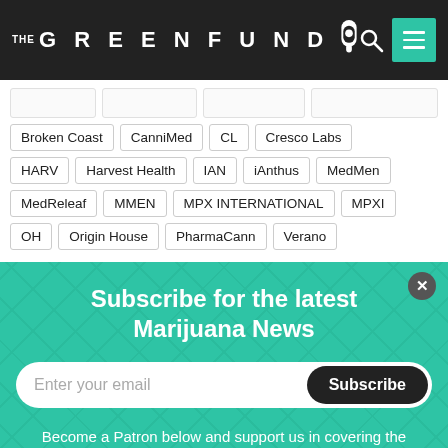[Figure (logo): The Green Fund logo — dark header bar with white text 'THE GREENFUND' and a cannabis leaf jar icon, search icon, and teal hamburger menu button]
Broken Coast
CanniMed
CL
Cresco Labs
HARV
Harvest Health
IAN
iAnthus
MedMen
MedReleaf
MMEN
MPX INTERNATIONAL
MPXI
OH
Origin House
PharmaCann
Verano
Subscribe for the latest Marijuana News
Enter your email
Subscribe
Become a Patron below and support us in covering the latest marijuana news!
Become a patron